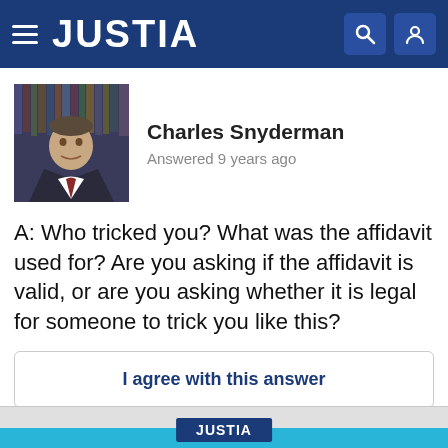JUSTIA
[Figure (photo): Profile photo of Charles Snyderman, a man in a dark suit with red tie, standing in front of a bookshelf with law books]
Charles Snyderman
Answered 9 years ago
A: Who tricked you? What was the affidavit used for? Are you asking if the affidavit is valid, or are you asking whether it is legal for someone to trick you like this?
I agree with this answer
🏴 Report
JUSTIA